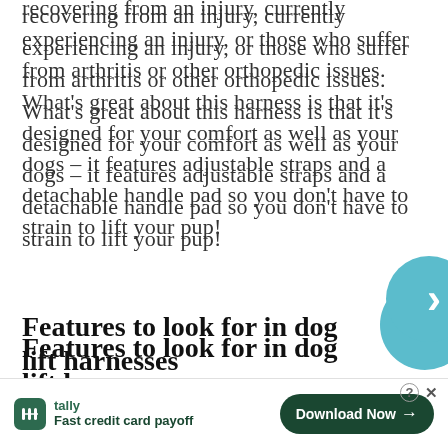recovering from an injury, currently experiencing an injury, or those who suffer from arthritis or other orthopedic issues. What's great about this harness is that it's designed for your comfort as well as your dogs – it features adjustable straps and a detachable handle pad so you don't have to strain to lift your pup!
Features to look for in dog lift harnesses
Since a lift harness is an orthopedic aid and an essential everyday accessory for elderly pets, it is real[...] he of its cru[...] sures
[Figure (other): Tally app advertisement banner with logo, tagline 'Fast credit card payoff', and 'Download Now' button. Includes help (?) and close (X) icons.]